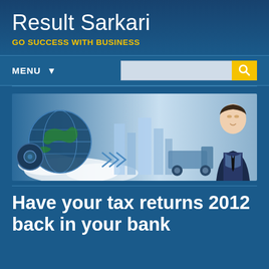Result Sarkari
GO SUCCESS WITH BUSINESS
MENU ▼
[Figure (illustration): Website banner showing a globe, business city buildings, and a businessman in a suit on the right side, with a light blue and white color scheme]
Have your tax returns 2012 back in your bank